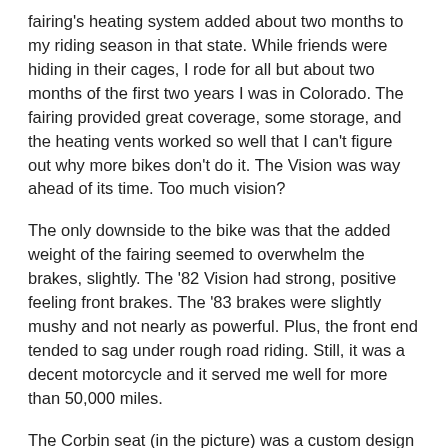fairing's heating system added about two months to my riding season in that state. While friends were hiding in their cages, I rode for all but about two months of the first two years I was in Colorado. The fairing provided great coverage, some storage, and the heating vents worked so well that I can't figure out why more bikes don't do it. The Vision was way ahead of its time. Too much vision?
The only downside to the bike was that the added weight of the fairing seemed to overwhelm the brakes, slightly. The '82 Vision had strong, positive feeling front brakes. The '83 brakes were slightly mushy and not nearly as powerful. Plus, the front end tended to sag under rough road riding. Still, it was a decent motorcycle and it served me well for more than 50,000 miles.
The Corbin seat (in the picture) was a custom design that I drew up on CAD and shipped to Corbin, along with the stock seat frame). It worked pretty well, but I got carried away with my attempt to lower the seat height and the Corbin slightly cramped the riding position with no advantage. For whatever that's worth, it was a fairly cool looking seat and really comfortable for...